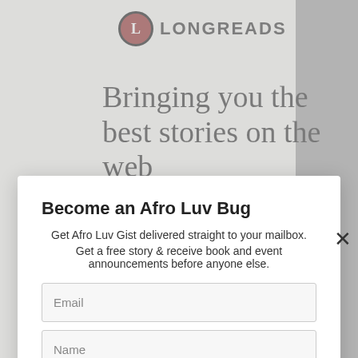[Figure (screenshot): Background showing Longreads website with logo, headline 'Bringing you the best stories on the web since 2009', and a 'Start reading' button, partially obscured by a modal overlay]
Become an Afro Luv Bug
Get Afro Luv Gist delivered straight to your mailbox.
Get a free story & receive book and event announcements before anyone else.
Email
Name
Opt in to receive news and updates.
JOIN